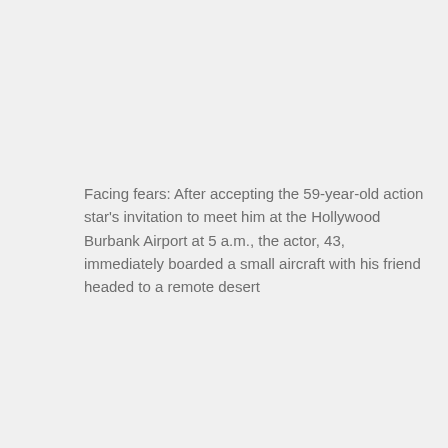Facing fears: After accepting the 59-year-old action star's invitation to meet him at the Hollywood Burbank Airport at 5 a.m., the actor, 43, immediately boarded a small aircraft with his friend headed to a remote desert